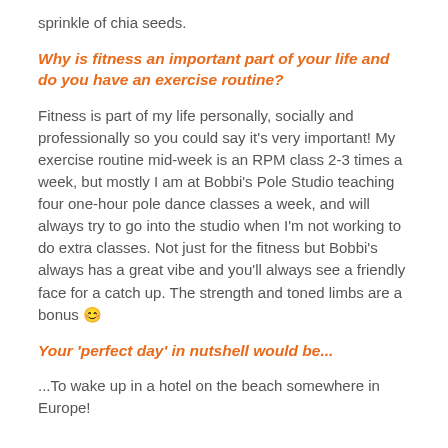sprinkle of chia seeds.
Why is fitness an important part of your life and do you have an exercise routine?
Fitness is part of my life personally, socially and professionally so you could say it's very important! My exercise routine mid-week is an RPM class 2-3 times a week, but mostly I am at Bobbi's Pole Studio teaching four one-hour pole dance classes a week, and will always try to go into the studio when I'm not working to do extra classes. Not just for the fitness but Bobbi's always has a great vibe and you'll always see a friendly face for a catch up. The strength and toned limbs are a bonus 😊
Your 'perfect day' in nutshell would be...
...To wake up in a hotel on the beach somewhere in Europe!